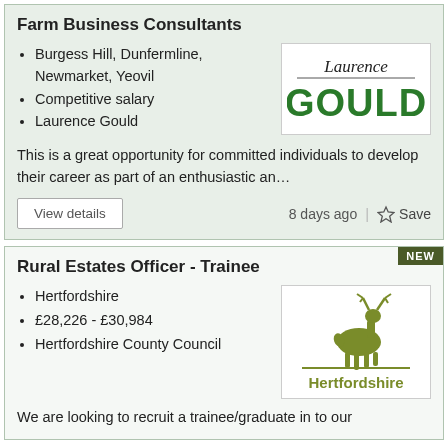Farm Business Consultants
Burgess Hill, Dunfermline, Newmarket, Yeovil
Competitive salary
Laurence Gould
[Figure (logo): Laurence Gould logo with cursive 'Laurence' in dark and bold green 'GOULD']
This is a great opportunity for committed individuals to develop their career as part of an enthusiastic an…
View details
8 days ago
Save
Rural Estates Officer - Trainee
Hertfordshire
£28,226 - £30,984
Hertfordshire County Council
[Figure (logo): Hertfordshire County Council logo with deer illustration and 'Hertfordshire' text in olive green]
We are looking to recruit a trainee/graduate in to our